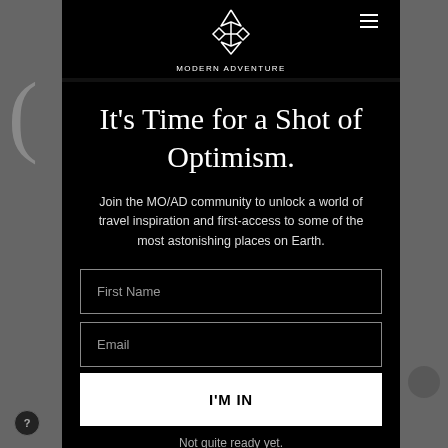[Figure (logo): Modern Adventure logo — geometric diamond/arrow shape in white lines above the text MODERN ADVENTURE]
It's Time for a Shot of Optimism.
Join the MO/AD community to unlock a world of travel inspiration and first-access to some of the most astonishing places on Earth.
First Name
Email
I'M IN
Not quite ready yet.